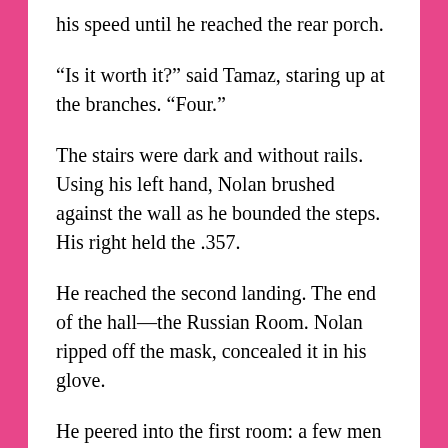his speed until he reached the rear porch.
“Is it worth it?” said Tamaz, staring up at the branches. “Four.”
The stairs were dark and without rails. Using his left hand, Nolan brushed against the wall as he bounded the steps. His right held the .357.
He reached the second landing. The end of the hall—the Russian Room. Nolan ripped off the mask, concealed it in his glove.
He peered into the first room: a few men watching a horse race. In the middle, he noticed the broad man he’d seen rolling dice.
The man looked at him, then the race.